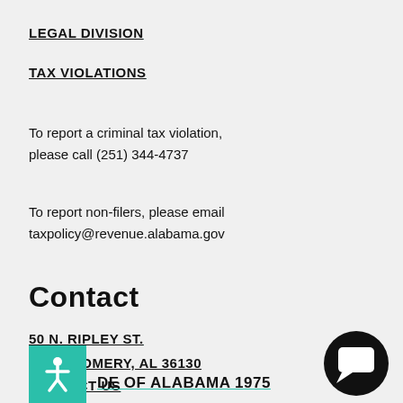LEGAL DIVISION
TAX VIOLATIONS
To report a criminal tax violation, please call (251) 344-4737
To report non-filers, please email taxpolicy@revenue.alabama.gov
Contact
50 N. RIPLEY ST.
MONTGOMERY, AL 36130
CONTACT US
[Figure (illustration): Teal accessibility icon with white figure/person symbol]
DE OF ALABAMA 1975
[Figure (illustration): Black circular chat/message icon in bottom right corner]